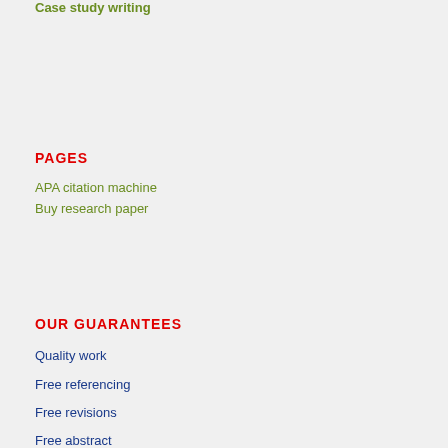Case study writing
PAGES
APA citation machine
Buy research paper
OUR GUARANTEES
Quality work
Free referencing
Free revisions
Free abstract